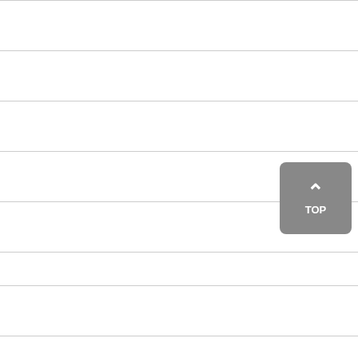| # | Part Number | Description |
| --- | --- | --- |
| 98 | TCSB03-0006 | 1 1/2" X 3/4" |
| 99 | TCSB03-0007 | 1 1/2" X 1" |
| 100 | TCSB03-0008 | 1-1/2"X1-1/4" |
| 101 | TCSB03-0009 | 2" X 1" |
| 102 | TCSB03-0010 | 2" X 1-1/2" |
| COUPLING; HALF; CARBON STEEL; FEMALE NPT END AS PER AS... |
| 103 | TCSB04-0001 |  |
| 104 | TCSB04-0002 | 1/2" |
| 105 | TCSB04-0003 | 3/4" |